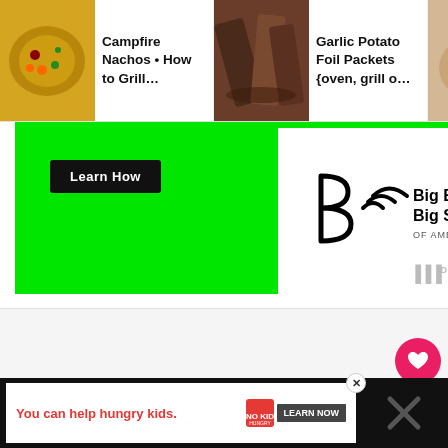[Figure (screenshot): Website screenshot showing food recipe navigation thumbnails at top: 'Campfire Nachos • How to Grill…', 'Garlic Potato Foil Packets {oven, grill o…', 'Apple >ri…'. Below is a green advertisement banner with a black 'Learn How' button and Big Brothers Big Sisters of America logo. Main content area is light gray with three dots indicator and social sidebar buttons (heart/665/share). Pink search button at lower right. Bottom black ad bar: 'You can help hungry kids.' with No Kid Hungry logo and 'LEARN NOW' button.]